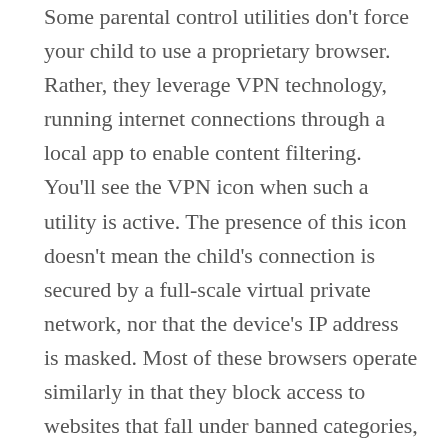Some parental control utilities don't force your child to use a proprietary browser. Rather, they leverage VPN technology, running internet connections through a local app to enable content filtering. You'll see the VPN icon when such a utility is active. The presence of this icon doesn't mean the child's connection is secured by a full-scale virtual private network, nor that the device's IP address is masked. Most of these browsers operate similarly in that they block access to websites that fall under banned categories, including all the biggest offenders, such as file sharing, gambling, pornography, and violence The best examples have no trouble picking up on HTTPS-encrypted traffic and blocking access to anonymizing proxies. Some apps, such as Net Nanny, let you create custom web-filtering categories, and the vast majority let you add specific rules for custom domains. Others can lock Safe Search settings and block profanity. The quality of web history reporting also